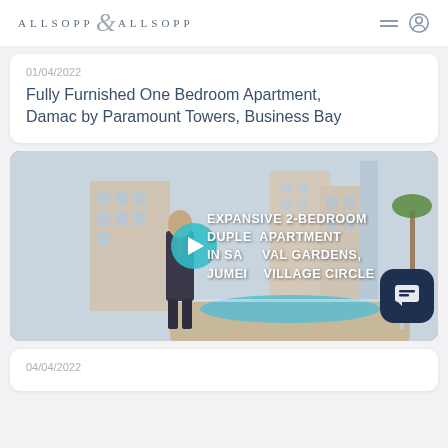ALLSOPP & ALLSOPP
01/04/2022
Fully Furnished One Bedroom Apartment, Damac by Paramount Towers, Business Bay
[Figure (photo): Video thumbnail showing a man in a suit standing by a pool area with apartment buildings in the background. Overlay text reads: EXPANSIVE 2 BEDROOM DUPLEX APARTMENT IN SANDOVAL GARDENS, JUMEIRAH VILLAGE CIRCLE. A teal play button is overlaid in the center.]
04/04/2022